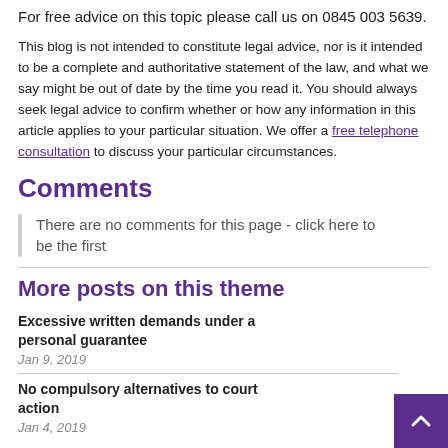For free advice on this topic please call us on 0845 003 5639.
This blog is not intended to constitute legal advice, nor is it intended to be a complete and authoritative statement of the law, and what we say might be out of date by the time you read it. You should always seek legal advice to confirm whether or how any information in this article applies to your particular situation. We offer a free telephone consultation to discuss your particular circumstances.
Comments
There are no comments for this page - click here to be the first
More posts on this theme
Excessive written demands under a personal guarantee
Jan 9, 2019
No compulsory alternatives to court action
Jan 4, 2019